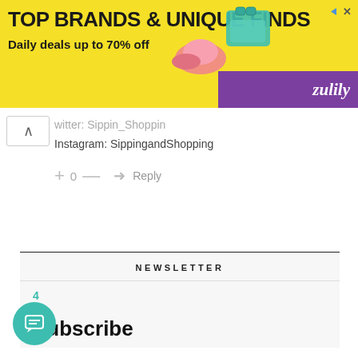[Figure (other): Advertisement banner for Zulily: yellow background with text 'TOP BRANDS & UNIQUE FINDS' and 'Daily deals up to 70% off', with shoes and bag image on right, purple strip with Zulily logo, and close/play icons top right]
Twitter: Sippin_Shoppin
Instagram: SippingandShopping
+ 0 —   Reply
NEWSLETTER
4
Subscribe